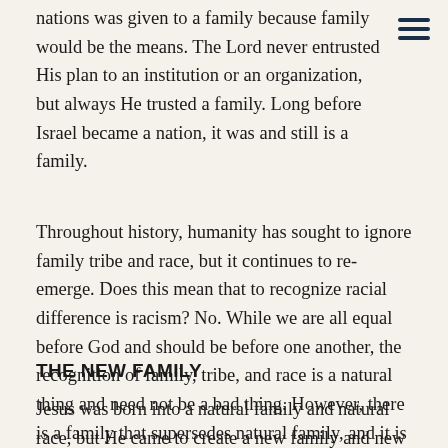nations was given to a family because family would be the means. The Lord never entrusted His plan to an institution or an organization, but always He trusted a family. Long before Israel became a nation, it was and still is a family.
Throughout history, humanity has sought to ignore family tribe and race, but it continues to re-emerge. Does this mean that to recognize racial difference is racism? No. While we are all equal before God and should be before one another, the recognition of family, tribe, and race is a natural thing and need not be a bad thing. However, there is a family that supersedes natural family, and it is the ultimate instrument of God’s worldwide, external purpose.
THE NEW FAMILY
Jesus was born into a natural family and natural race, but He came to create a new family and new race. Hebrews 2:10 says that He came to bring many sons to glory. Included